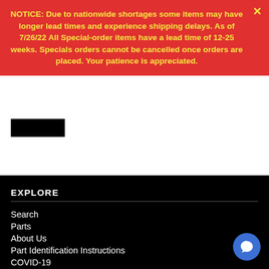NOTICE: Due to nationwide shortages some items may have longer lead times and experience shipping delays. As of 7/26/22 All Special-order items have a lead time of 12-25 weeks. Specials orders cannot be cancelled once orders are placed. Your patience is appreciated.
EXPLORE
Search
Parts
About Us
Part Identification Instructions
COVID-19
FAQ
CONNECT
Info@WindowPartsCenter.com